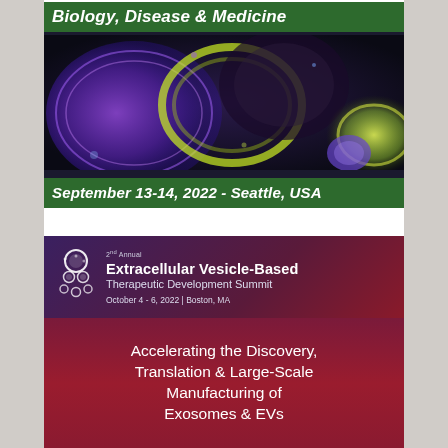Biology, Disease & Medicine
[Figure (photo): Microscopic image of cells/extracellular vesicles glowing in blue and yellow-green on dark background]
September 13-14, 2022 - Seattle, USA
[Figure (logo): 2nd Annual Extracellular Vesicle-Based Therapeutic Development Summit logo with molecular/vesicle icon]
2nd Annual
Extracellular Vesicle-Based
Therapeutic Development Summit
October 4 - 6, 2022 | Boston, MA
Accelerating the Discovery, Translation & Large-Scale Manufacturing of Exosomes & EVs